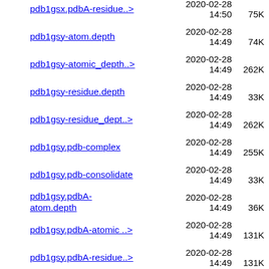pdb1gsx.pdbA-residue..> 2020-02-28 14:50 75K
pdb1gsy-atom.depth 2020-02-28 14:49 74K
pdb1gsy-atomic_depth..> 2020-02-28 14:49 262K
pdb1gsy-residue.depth 2020-02-28 14:49 33K
pdb1gsy-residue_dept..> 2020-02-28 14:49 262K
pdb1gsy.pdb-complex 2020-02-28 14:49 255K
pdb1gsy.pdb-consolidate 2020-02-28 14:49 33K
pdb1gsy.pdbA-atom.depth 2020-02-28 14:49 36K
pdb1gsy.pdbA-atomic_..> 2020-02-28 14:49 131K
pdb1gsy.pdbA-residue..> 2020-02-28 14:49 131K
pdb1gsy.pdbB-atom.depth 2020-02-28 14:49 37K
pdb1gsy.pdbB-atomic_ ..> 2020-02-28 131K